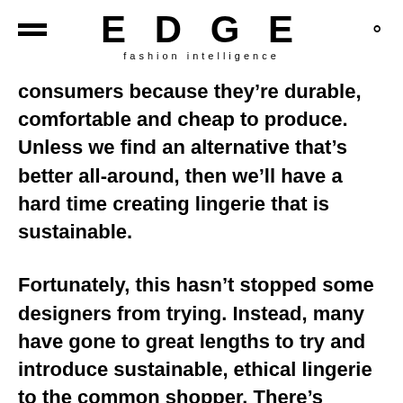EDGE
fashion intelligence
consumers because they’re durable, comfortable and cheap to produce. Unless we find an alternative that’s better all-around, then we’ll have a hard time creating lingerie that is sustainable.
Fortunately, this hasn’t stopped some designers from trying. Instead, many have gone to great lengths to try and introduce sustainable, ethical lingerie to the common shopper. There’s Boody that creates sustainable undergarments made with viscose